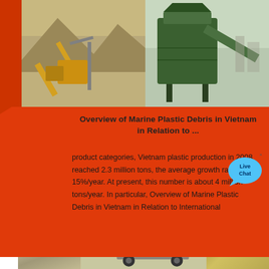[Figure (photo): Two industrial/mining machinery photos side by side at the top of the page]
Overview of Marine Plastic Debris in Vietnam in Relation to ...
product categories, Vietnam plastic production in 2008 reached 2.3 million tons, the average growth rate of 15%/year. At present, this number is about 4 million tons/year. In particular, Overview of Marine Plastic Debris in Vietnam in Relation to International
[Figure (photo): Two industrial/mining machinery photos side by side at the bottom of the page]